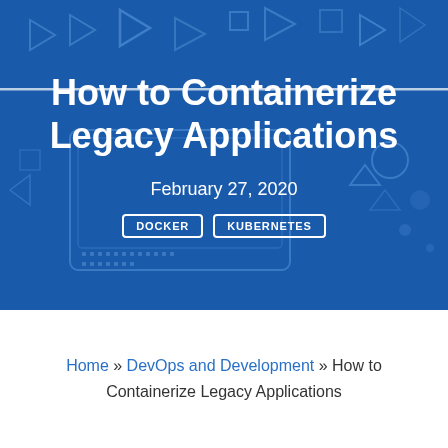[Figure (illustration): Blue hero banner background with technology network icons, arrows, laptop outline, and dots pattern in lighter blue tones]
How to Containerize Legacy Applications
February 27, 2020
DOCKER  KUBERNETES
Home » DevOps and Development » How to Containerize Legacy Applications